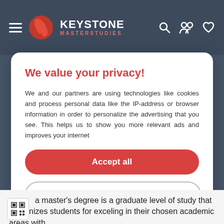KEYSTONE MASTERSTUDIES
We value your privacy!
We and our partners are using technologies like cookies and process personal data like the IP-address or browser information in order to personalize the advertising that you see. This helps us to show you more relevant ads and improves your internet
Accept all
Settings
Cookies | Privacy notice | T&C
a master's degree is a graduate level of study that recognizes students for exceling in their chosen academic areas with